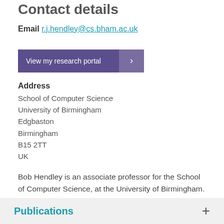Contact details
Email
r.j.hendley@cs.bham.ac.uk
[Figure (other): Purple button labeled 'View my research portal' with a chevron arrow on the right side]
Address
School of Computer Science
University of Birmingham
Edgbaston
Birmingham
B15 2TT
UK
Bob Hendley is an associate professor for the School of Computer Science, at the University of Birmingham. For more information, please see Bob's homepage.
Publications